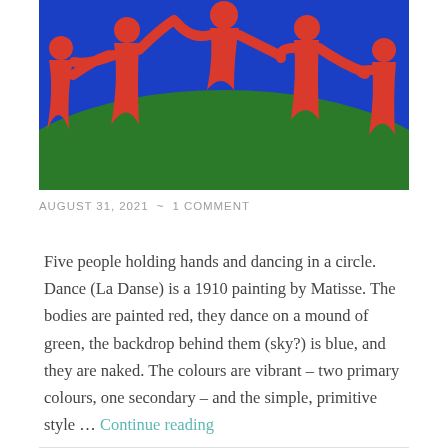[Figure (photo): Matisse's La Danse painting showing five red figures holding hands and dancing in a circle, against a blue backdrop and green mound]
AUGUST 31, 2021  ~  1 COMMENT
Five people holding hands and dancing in a circle. Dance (La Danse) is a 1910 painting by Matisse. The bodies are painted red, they dance on a mound of green, the backdrop behind them (sky?) is blue, and they are naked. The colours are vibrant – two primary colours, one secondary – and the simple, primitive style … Continue reading